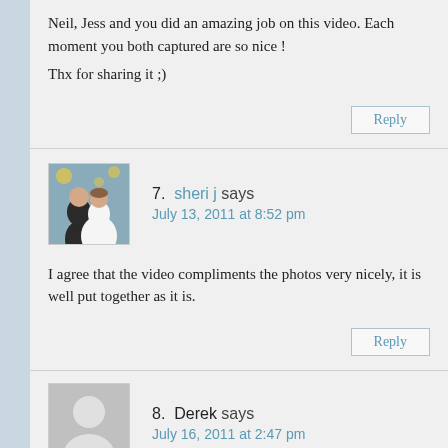Neil, Jess and you did an amazing job on this video. Each moment you both captured are so nice !
Thx for sharing it ;)
Reply
7.  sheri j says
July 13, 2011 at 8:52 pm
I agree that the video compliments the photos very nicely, it is well put together as it is.
Reply
8.  Derek says
July 16, 2011 at 2:47 pm
Great video Neil!